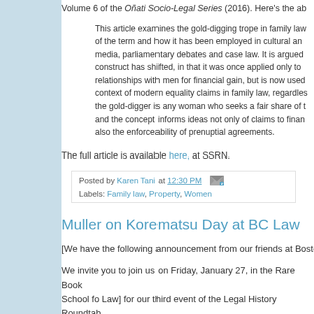Volume 6 of the Oñati Socio-Legal Series (2016). Here's the ab
This article examines the gold-digging trope in family law, of the term and how it has been employed in cultural and media, parliamentary debates and case law. It is argued construct has shifted, in that it was once applied only to relationships with men for financial gain, but is now used context of modern equality claims in family law, regardless the gold-digger is any woman who seeks a fair share of and the concept informs not only of claims to finan also the enforceability of prenuptial agreements.
The full article is available here, at SSRN.
Posted by Karen Tani at 12:30 PM
Labels: Family law, Property, Women
Muller on Korematsu Day at BC Law
[We have the following announcement from our friends at Bosto
We invite you to join us on Friday, January 27, in the Rare Book School fo Law] for our third event of the Legal History Roundtab to welcome Eric Muller, Moore Distinguished Professor of Law